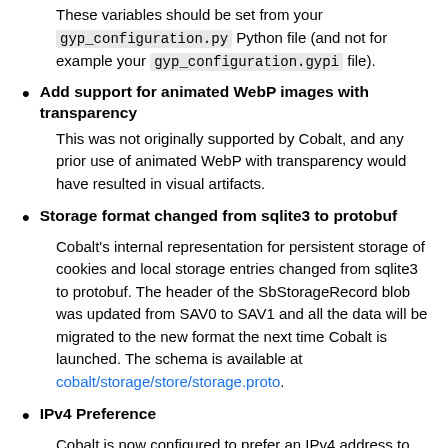These variables should be set from your gyp_configuration.py Python file (and not for example your gyp_configuration.gypi file).
Add support for animated WebP images with transparency
This was not originally supported by Cobalt, and any prior use of animated WebP with transparency would have resulted in visual artifacts.
Storage format changed from sqlite3 to protobuf
Cobalt's internal representation for persistent storage of cookies and local storage entries changed from sqlite3 to protobuf. The header of the SbStorageRecord blob was updated from SAV0 to SAV1 and all the data will be migrated to the new format the next time Cobalt is launched. The schema is available at cobalt/storage/store/storage.proto.
IPv4 Preference
Cobalt is now configured to prefer an IPv4 address to